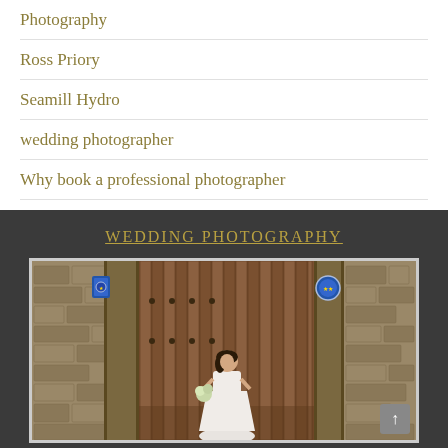Photography
Ross Priory
Seamill Hydro
wedding photographer
Why book a professional photographer
WEDDING PHOTOGRAPHY
[Figure (photo): Bride in white wedding dress standing in front of large wooden doors set in a stone wall archway, holding a bouquet, with blue plaques visible on the pillars]